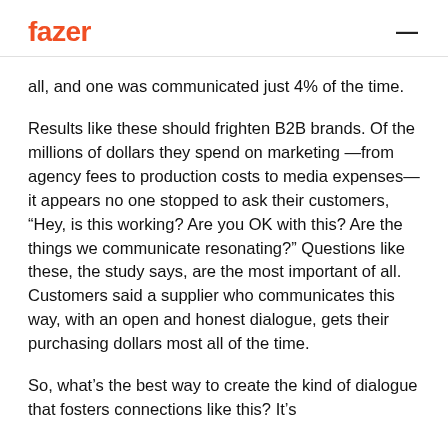fazer —
all, and one was communicated just 4% of the time.
Results like these should frighten B2B brands. Of the millions of dollars they spend on marketing —from agency fees to production costs to media expenses—it appears no one stopped to ask their customers, “Hey, is this working? Are you OK with this? Are the things we communicate resonating?” Questions like these, the study says, are the most important of all. Customers said a supplier who communicates this way, with an open and honest dialogue, gets their purchasing dollars most all of the time.
So, what’s the best way to create the kind of dialogue that fosters connections like this? It’s